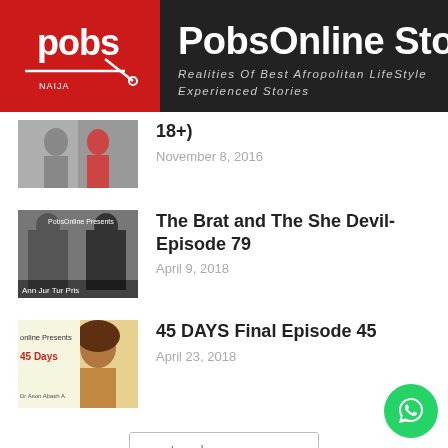PobsOnline Stories — Realities Of Best Afropolitan LifeStyle Experienced Stories
18+)
November 8, 2016
The Brat and The She Devil-Episode 79
April 9, 2018
45 DAYS Final Episode 45
April 23, 2018
Load more
Support PobsOnline
USD
Select Amount
5